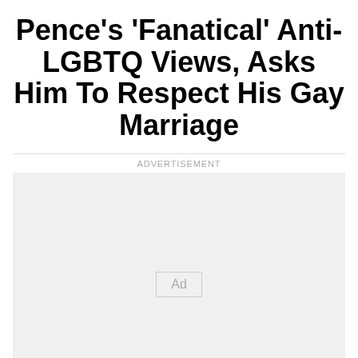Pence's 'Fanatical' Anti-LGBTQ Views, Asks Him To Respect His Gay Marriage
[Figure (other): Advertisement placeholder box with 'Ad' label centered inside]